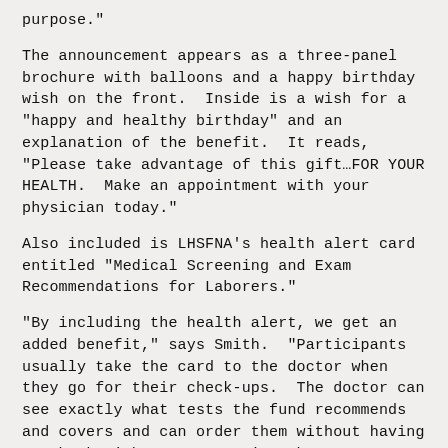purpose."
The announcement appears as a three-panel brochure with balloons and a happy birthday wish on the front.  Inside is a wish for a "happy and healthy birthday" and an explanation of the benefit.  It reads, "Please take advantage of this gift…FOR YOUR HEALTH.  Make an appointment with your physician today."
Also included is LHSFNA's health alert card entitled "Medical Screening and Exam Recommendations for Laborers."
"By including the health alert, we get an added benefit," says Smith.  "Participants usually take the card to the doctor when they go for their check-ups.  The doctor can see exactly what tests the fund recommends and covers and can order them without having to check with us or worrying about payment.  The system works smoothly for everyone involved."
The success of the birthday card initiative at CLWF has encouraged other funds to look into similar